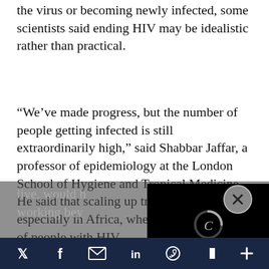the virus or becoming newly infected, some scientists said ending HIV may be idealistic rather than practical.
“We’ve made progress, but the number of people getting infected is still extraordinarily high,” said Shabbar Jaffar, a professor of epidemiology at the London School of Hygiene and Tropical Medicine. He said that scaling up treatment further, especially in Africa, where about 70 percent of people with HIV live, would b[...] working bey[...]
Jaffar said it[...] e are close to eliminati[...]
[Figure (screenshot): A video player overlay with black background, a loading spinner (letter C shape), a close button (circle with X), and playback controls (pause and mute icons) at the bottom.]
Social share bar with icons: Twitter, Facebook, Email, LinkedIn, WhatsApp, Flipboard, More